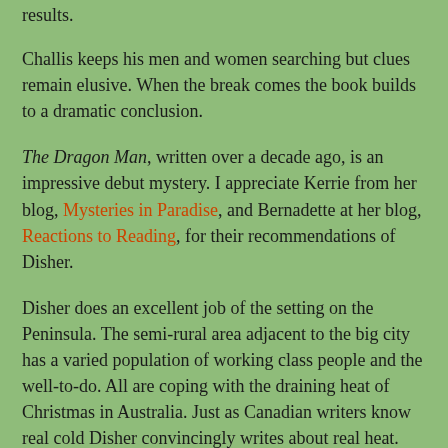results.
Challis keeps his men and women searching but clues remain elusive. When the break comes the book builds to a dramatic conclusion.
The Dragon Man, written over a decade ago, is an impressive debut mystery. I appreciate Kerrie from her blog, Mysteries in Paradise, and Bernadette at her blog, Reactions to Reading, for their recommendations of Disher.
Disher does an excellent job of the setting on the Peninsula. The semi-rural area adjacent to the big city has a varied population of working class people and the well-to-do. All are coping with the draining heat of Christmas in Australia. Just as Canadian writers know real cold Disher convincingly writes about real heat. (Feb. 22/12)
Bill Selnes at 1:54 PM    4 comments: